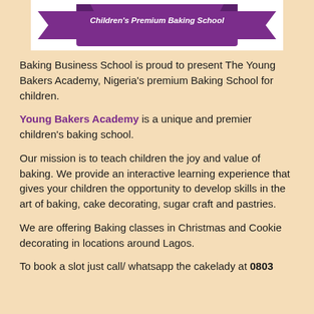[Figure (logo): Purple ribbon/banner logo with text 'Children's Premium Baking School' in white on a purple banner shape, on a white background]
Baking Business School is proud to present The Young Bakers Academy, Nigeria's premium Baking School for children.
Young Bakers Academy is a unique and premier children's baking school.
Our mission is to teach children the joy and value of baking. We provide an interactive learning experience that gives your children the opportunity to develop skills in the art of baking, cake decorating, sugar craft and pastries.
We are offering Baking classes in Christmas and Cookie decorating in locations around Lagos.
To book a slot just call/ whatsapp the cakelady at 0803